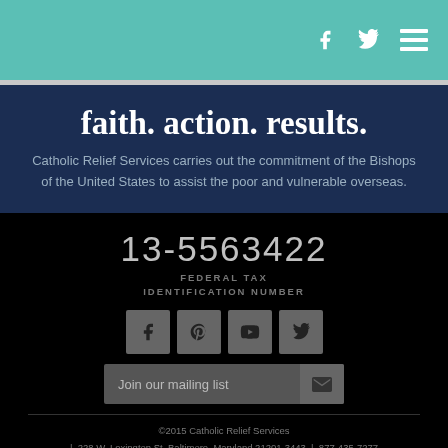[Figure (screenshot): Website header bar with teal/turquoise background showing Facebook, Twitter, and hamburger menu icons in white]
faith. action. results.
Catholic Relief Services carries out the commitment of the Bishops of the United States to assist the poor and vulnerable overseas.
13-5563422
FEDERAL TAX IDENTIFICATION NUMBER
[Figure (screenshot): Row of four social media icon boxes (Facebook, Pinterest, YouTube, Twitter) in gray on black background]
Join our mailing list
©2015 Catholic Relief Services | 228 W. Lexington St. Baltimore, Maryland 21201-3443 | 877-435-7277 | info@crs.org
Terms of Use | Privacy Policy | Sitemap